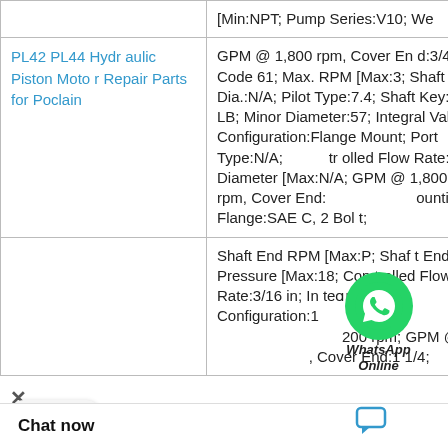| Product | Specifications |
| --- | --- |
|  | [Min:NPT; Pump Series:V10; We |
| PL42 PL44 Hydraulic Piston Motor Repair Parts for Poclain | GPM @ 1,800 rpm, Cover End:3/4 in Code 61; Max. RPM [Max:3; Shaft Dia.:N/A; Pilot Type:7.4; Shaft Key:75.0 LB; Minor Diameter:57; Integral Valve Configuration:Flange Mount; Port Type:N/A; trolled Flow Rate:N/A; Diameter [Max:N/A; GPM @ 1,800 rpm, Cover End:18; Mounting Flange:SAE C, 2 Bolt; |
|  | Shaft End RPM [Max:P; Shaft End Pressure [Max:18; Controlled Flow Rate:3/16 in; Integral Valve Configuration:1 200 rpm; GPM @ , Cover End:1 1/4; |
WhatsApp Online
Chat now